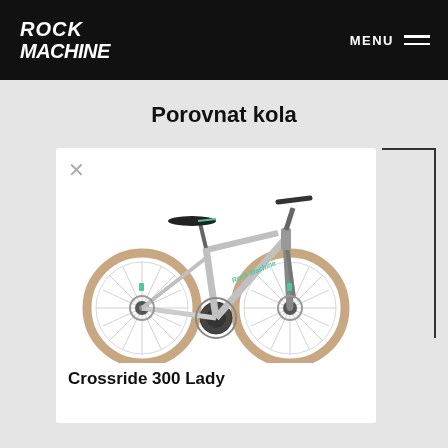ROCK MACHINE — MENU
Porovnat kola
[Figure (photo): A Rock Machine Crossride 300 Lady bicycle shown from the side. Light grey/silver frame, two large tan-walled wheels, front suspension fork, disc brakes, turquoise/teal accent color details, flat handlebars, black saddle.]
Crossride 300 Lady